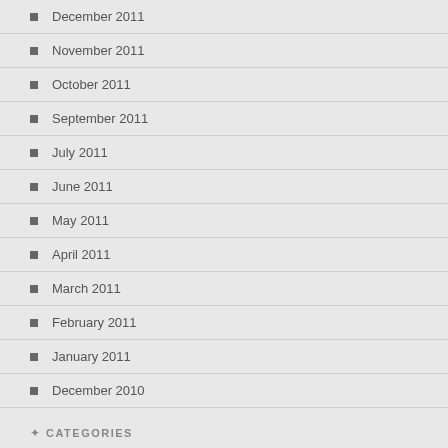December 2011
November 2011
October 2011
September 2011
July 2011
June 2011
May 2011
April 2011
March 2011
February 2011
January 2011
December 2010
CATEGORIES
Uncategorized